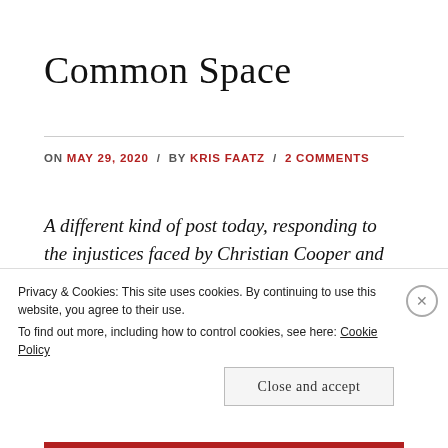Common Space
ON MAY 29, 2020 / BY KRIS FAATZ / 2 COMMENTS
A different kind of post today, responding to the injustices faced by Christian Cooper and George Floyd.
Last year, I started teaching with Baltimore Bridges, a
Privacy & Cookies: This site uses cookies. By continuing to use this website, you agree to their use.
To find out more, including how to control cookies, see here: Cookie Policy
Close and accept